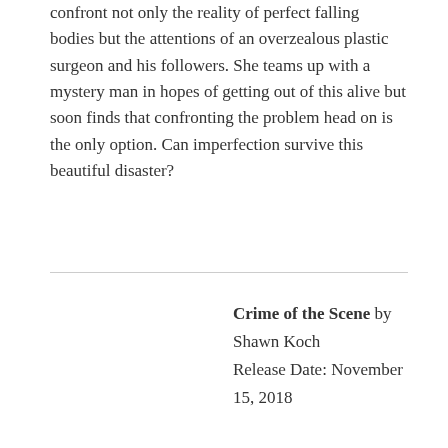confront not only the reality of perfect falling bodies but the attentions of an overzealous plastic surgeon and his followers. She teams up with a mystery man in hopes of getting out of this alive but soon finds that confronting the problem head on is the only option. Can imperfection survive this beautiful disaster?
Crime of the Scene by Shawn Koch
Release Date: November 15, 2018